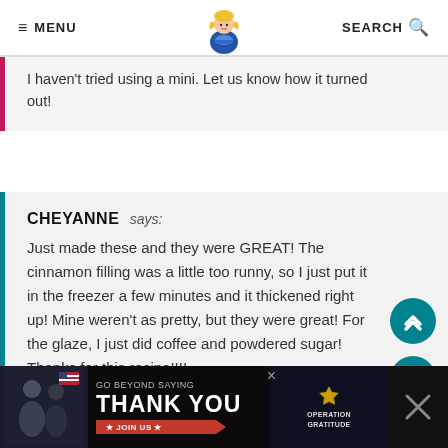≡ MENU  [logo]  SEARCH 🔍
I haven't tried using a mini. Let us know how it turned out!
CHEYANNE says: Just made these and they were GREAT! The cinnamon filling was a little too runny, so I just put it in the freezer a few minutes and it thickened right up! Mine weren't as pretty, but they were great! For the glaze, I just did coffee and powdered sugar! Thanks for this recipe!!!!
REPLY 118K
[Figure (screenshot): Ad banner: GO BEYOND SAYING THANK YOU - Operation Gratitude JOIN US]
Go Beyond Saying Thank You - Operation Gratitude - Join Us